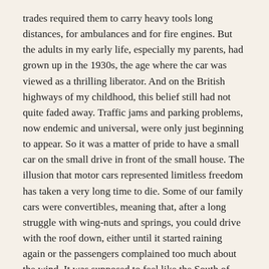trades required them to carry heavy tools long distances, for ambulances and for fire engines. But the adults in my early life, especially my parents, had grown up in the 1930s, the age where the car was viewed as a thrilling liberator. And on the British highways of my childhood, this belief still had not quite faded away. Traffic jams and parking problems, now endemic and universal, were only just beginning to appear. So it was a matter of pride to have a small car on the small drive in front of the small house. The illusion that motor cars represented limitless freedom has taken a very long time to die. Some of our family cars were convertibles, meaning that, after a long struggle with wing-nuts and springs, you could drive with the roof down, either until it started raining again or the passengers complained too much about the wind. It was supposed to feel like the South of France, but it didn't.
Mainly I felt sick. Often I was sick. After the first such episode, I did not expect or get any sympathy for this.